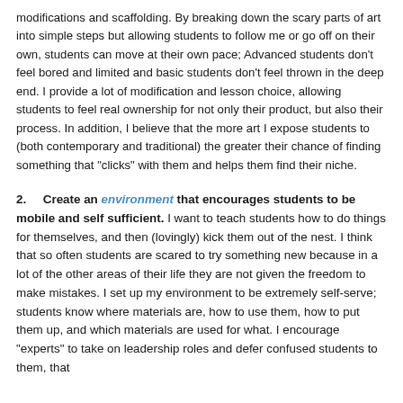modifications and scaffolding.  By breaking down the scary parts of art into simple steps but allowing students to follow me or go off on their own,  students can move at their own pace; Advanced students don't feel bored and limited and basic students don't feel thrown in the deep end.  I provide a lot of modification and lesson choice, allowing students to feel real ownership for not only their product, but also their process.  In addition, I believe that the more art I expose students to (both contemporary and traditional) the greater their chance of finding something that "clicks" with them and helps them find their niche.
2.    Create an environment that encourages students to be mobile and self sufficient.  I want to teach students how to do things for themselves, and then (lovingly) kick them out of the nest.  I think that so often students are scared to try something new because in a lot of the other areas of their life they are not given the freedom to make mistakes.  I set up my environment to be extremely self-serve; students know where materials are, how to use them, how to put them up, and which materials are used for what.   I encourage "experts" to take on leadership roles and defer confused students to them, that